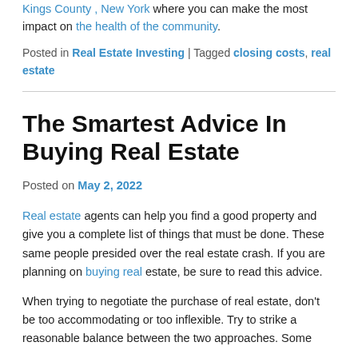Kings County , New York where you can make the most impact on the health of the community.
Posted in Real Estate Investing | Tagged closing costs, real estate
The Smartest Advice In Buying Real Estate
Posted on May 2, 2022
Real estate agents can help you find a good property and give you a complete list of things that must be done. These same people presided over the real estate crash. If you are planning on buying real estate, be sure to read this advice.
When trying to negotiate the purchase of real estate, don't be too accommodating or too inflexible. Try to strike a reasonable balance between the two approaches. Some